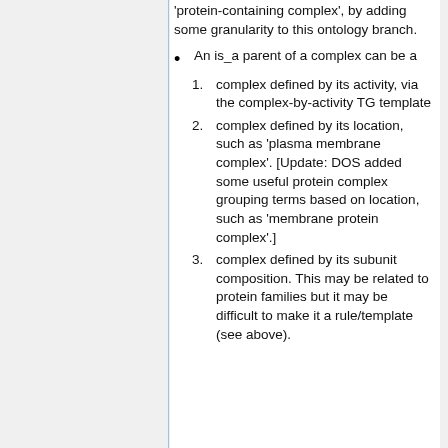'protein-containing complex', by adding some granularity to this ontology branch.
An is_a parent of a complex can be a
1. complex defined by its activity, via the complex-by-activity TG template
2. complex defined by its location, such as 'plasma membrane complex'. [Update: DOS added some useful protein complex grouping terms based on location, such as 'membrane protein complex'.]
3. complex defined by its subunit composition. This may be related to protein families but it may be difficult to make it a rule/template (see above).